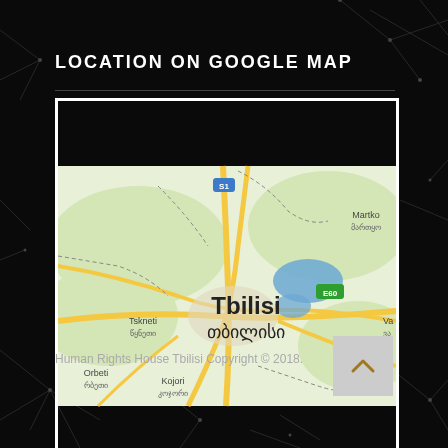LOCATION ON GOOGLE MAP
[Figure (map): Google Map showing Tbilisi (თბილისი), Georgia with surrounding areas including Tskneti ( წყნეთი), Orbeti (რბეთი), Kojori (კოჯორი), Martko (მარტყო), and highway labels S1 and E60.]
Human Rights House Tbilisi Copyright © 2018.